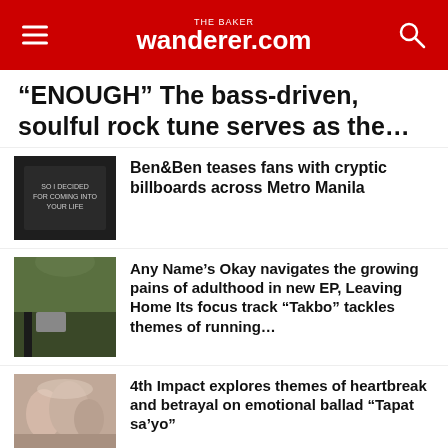THE BAKER wanderer.com
“ENOUGH” The bass-driven, soulful rock tune serves as the…
[Figure (photo): Dark billboard or chalkboard sign with handwritten text]
Ben&Ben teases fans with cryptic billboards across Metro Manila
[Figure (photo): Outdoor nature scene with tall grasses and dark objects in foreground]
Any Name’s Okay navigates the growing pains of adulthood in new EP, Leaving Home Its focus track “Takbo” tackles themes of running…
[Figure (photo): Group photo of women in formal attire]
4th Impact explores themes of heartbreak and betrayal on emotional ballad “Tapat sa’yo”